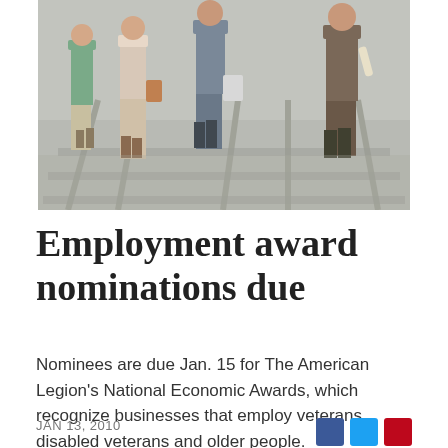[Figure (photo): Four people walking together viewed from behind, dressed in business/professional attire, walking on a surface with parallel lines (possibly train tracks or a pedestrian crossing). The image is cropped to show them from approximately knee height down to full body view.]
Employment award nominations due
Nominees are due Jan. 15 for The American Legion's National Economic Awards, which recognize businesses that employ veterans, disabled veterans and older people.
JAN 13, 2010